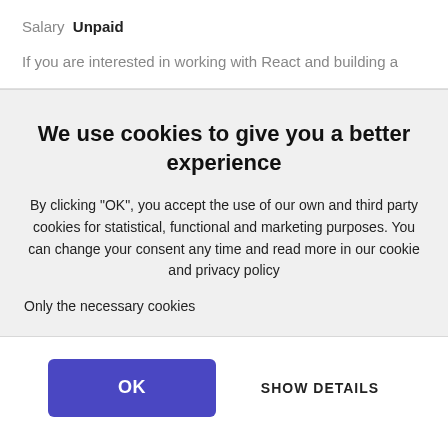Salary  Unpaid
If you are interested in working with React and building a
We use cookies to give you a better experience
By clicking "OK", you accept the use of our own and third party cookies for statistical, functional and marketing purposes. You can change your consent any time and read more in our cookie and privacy policy
Only the necessary cookies
OK
SHOW DETAILS